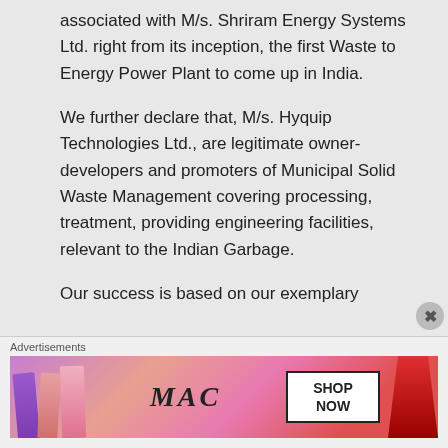associated with M/s. Shriram Energy Systems Ltd. right from its inception, the first Waste to Energy Power Plant to come up in India.
We further declare that, M/s. Hyquip Technologies Ltd., are legitimate owner-developers and promoters of Municipal Solid Waste Management covering processing, treatment, providing engineering facilities, relevant to the Indian Garbage.
Our success is based on our exemplary
Advertisements
[Figure (photo): MAC cosmetics advertisement banner showing lipsticks and MAC logo with SHOP NOW button]